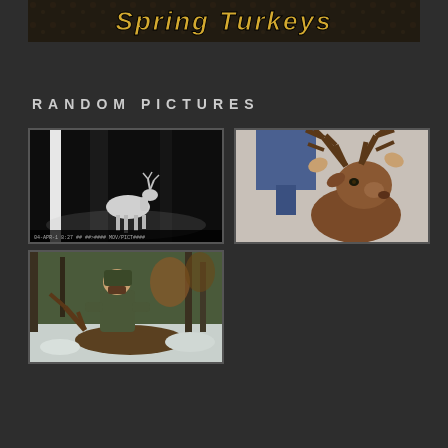[Figure (photo): Banner image with text 'Spring Turkeys' on dark background with camouflage/nature texture]
RANDOM PICTURES
[Figure (photo): Night vision trail camera photo of a deer (buck) in dark forest with bright vertical light streak]
[Figure (photo): Taxidermy mounted deer head with large antlers held up by person in jeans]
[Figure (photo): Hunter in camouflage posing with harvested elk/deer in snowy wooded setting]